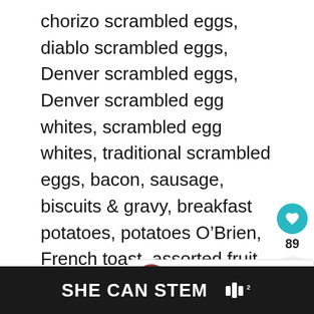chorizo scrambled eggs, diablo scrambled eggs, Denver scrambled eggs, Denver scrambled egg whites, scrambled egg whites, traditional scrambled eggs, bacon, sausage, biscuits & gravy, breakfast potatoes, potatoes O’Brien, French toast, assorted fruit, and a collection of donuts and pastries.
The most popular breakfast item was the make-your-own omelet station with of meat and veggie options.
[Figure (infographic): Heart/like button (teal circle with heart icon), count 89, and share button]
[Figure (infographic): What's Next callout box with food image thumbnail and text: The Buffet At Wynn Revie...]
[Figure (infographic): Dark advertisement banner reading SHE CAN STEM with a logo on the right]